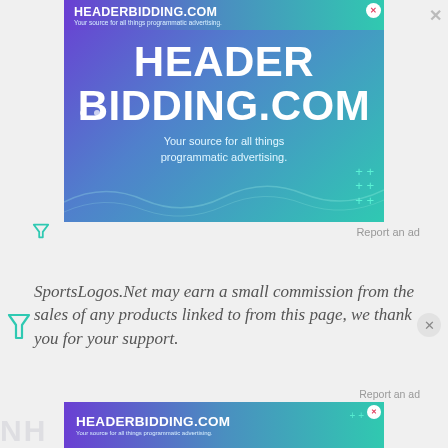[Figure (screenshot): Advertisement banner for HeaderBidding.com showing large bold white text 'HEADERBIDDING.COM' and tagline 'Your source for all things programmatic advertising.' on a purple-to-teal gradient background with decorative grid lines and plus icons.]
Report an ad
SportsLogos.Net may earn a small commission from the sales of any products linked to from this page, we thank you for your support.
Report an ad
[Figure (screenshot): Smaller advertisement banner for HeaderBidding.com with the same branding on a purple-to-teal gradient.]